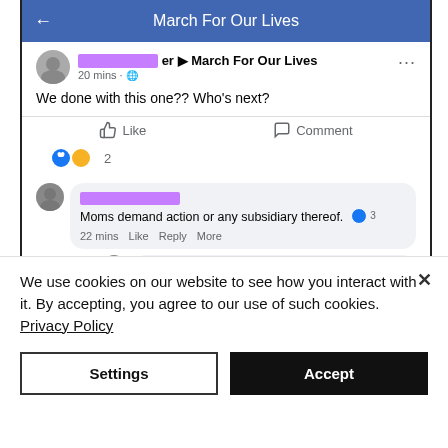[Figure (screenshot): Screenshot of a Facebook post in the 'March For Our Lives' group. A user with a redacted name posts 'We done with this one?? Who's next?' with 2 reactions. A comment says 'Moms demand action or any subsidiary thereof.' with 3 likes, and a nested reply says 'the moms group isn't falling for it I tried to join' with a laughing emoji reaction.]
We use cookies on our website to see how you interact with it. By accepting, you agree to our use of such cookies. Privacy Policy
Settings
Accept